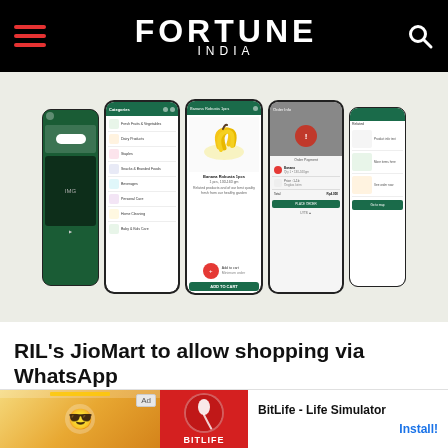FORTUNE INDIA
[Figure (screenshot): Multiple smartphone screens showing the JioMart grocery shopping app interface with categories, banana product page, cart, and order confirmation screens]
RIL's JioMart to allow shopping via WhatsApp
JioMart laun
[Figure (other): Advertisement banner for BitLife - Life Simulator app with cartoon character and red logo, with Install button]